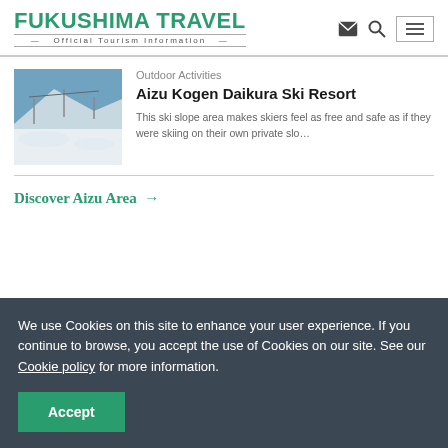FUKUSHIMA TRAVEL — Official Tourism Information
Outdoor Activities
Aizu Kogen Daikura Ski Resort
This ski slope area makes skiers feel as free and safe as if they were skiing on their own private slo…
Discover Aizu Area →
We use Cookies on this site to enhance your user experience. If you continue to browse, you accept the use of Cookies on our site. See our Cookie policy for more information.